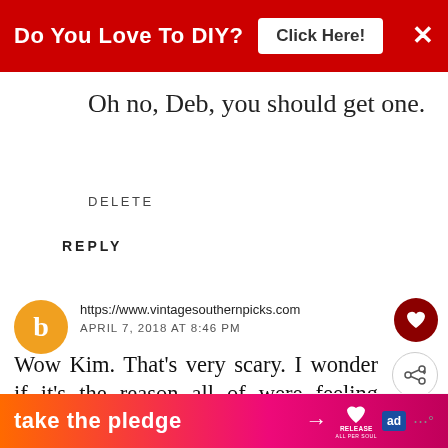[Figure (screenshot): Red advertisement banner at top: 'Do You Love To DIY? Click Here!' with X close button]
Oh no, Deb, you should get one.
DELETE
REPLY
https://www.vintagesouthernpicks.com
APRIL 7, 2018 AT 8:46 PM
Wow Kim. That's very scary. I wonder if it's the reason all of were feeling sleepy, but I'm glad persisted and had it checked out.
[Figure (screenshot): Bottom advertisement banner: 'take the pledge' with arrow, Release logo, ad badge, and dots logo]